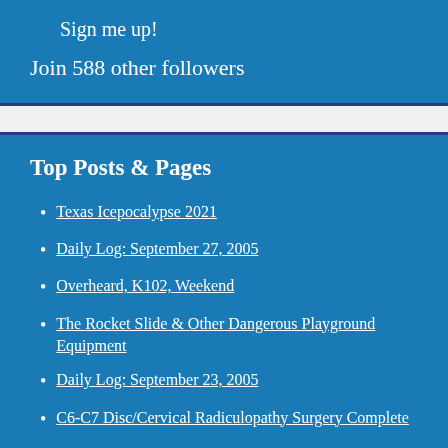Sign me up!
Join 588 other followers
Top Posts & Pages
Texas Icepocalypse 2021
Daily Log: September 27, 2005
Overheard, K102, Weekend
The Rocket Slide & Other Dangerous Playground Equipment
Daily Log: September 23, 2005
C6-C7 Disc/Cervical Radiculopathy Surgery Complete
Chic...